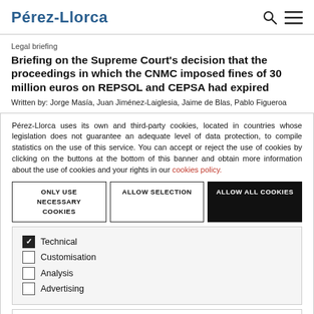Pérez-Llorca
Legal briefing
Briefing on the Supreme Court's decision that the proceedings in which the CNMC imposed fines of 30 million euros on REPSOL and CEPSA had expired
Written by: Jorge Masía, Juan Jiménez-Laiglesia, Jaime de Blas, Pablo Figueroa
Pérez-Llorca uses its own and third-party cookies, located in countries whose legislation does not guarantee an adequate level of data protection, to compile statistics on the use of this service. You can accept or reject the use of cookies by clicking on the buttons at the bottom of this banner and obtain more information about the use of cookies and your rights in our cookies policy.
ONLY USE NECESSARY COOKIES
ALLOW SELECTION
ALLOW ALL COOKIES
Technical (checked)
Customisation
Analysis
Advertising
SHOW DETAILS